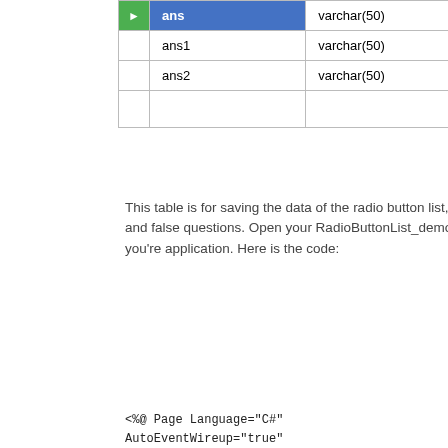|  | Field | Type |  |
| --- | --- | --- | --- |
| ▶ | ans | varchar(50) |  |
|  | ans1 | varchar(50) |  |
|  | ans2 | varchar(50) | ↵ |
|  |  |  |  |
This table is for saving the data of the radio button list, I mean in this table we will get the user's answer of true and false questions. Open your RadioButtonList_demo.aspx file from Solution Explorer and start the design of you're application. Here is the code:
<%@ Page Language="C#" AutoEventWireup="true" CodeFile="Default.aspx.cs" Inherits="_Default" %>
<!DOCTYPE html PUBLIC
"-//W3C//DTD XHTML 1.0 Transitional//EN"
"http://www.w3.org/TR/xhtml1/DTD/xht
transitional.dtd">
<html
xmlns="http://www.w3.org/1999/xhtml"
<head runat="server">
<title></title>
<style type="text/css">
.style1
{
Month List
2022
August (4)
July (11)
June (8)
May (5)
April (6)
March (11)
February (8)
January (4)
2021
December (5)
November (7)
October (6)
September (10)
August (10)
July (8)